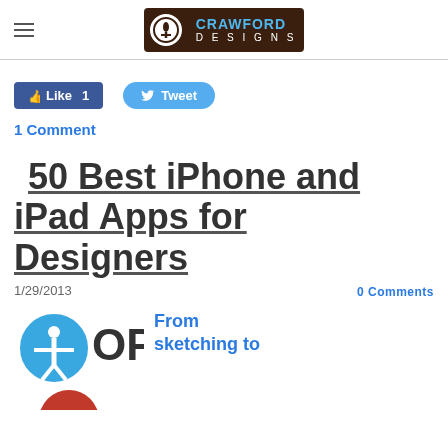Crawford Designs
[Figure (other): Social sharing buttons: Facebook Like with count 1, Twitter Tweet button]
1 Comment
50 Best iPhone and iPad Apps for Designers
1/29/2013
0 Comments
[Figure (logo): Circular accessibility icon with OP text beside it, and partial red circle below]
From sketching to